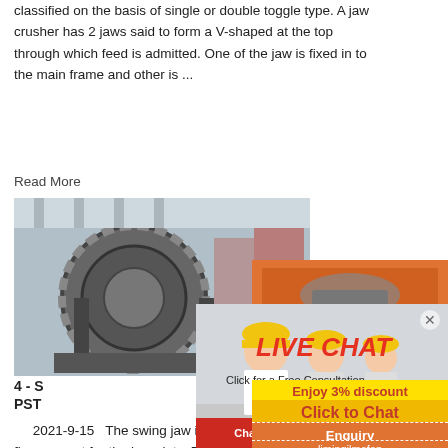classified on the basis of single or double toggle type. A jaw crusher has 2 jaws said to form a V-shaped at the top through which feed is admitted. One of the jaw is fixed in to the main frame and other is ...
Read More
[Figure (photo): Industrial ball mill / grinding machine in a factory setting]
4 - S
PST
2021-9-15   The swing jaw is of robust construction, fully stress relieved and machined to provide a firm support for the jaw plate. The jaw plates are of construction and reversible for maximum wear. The main shaft is forged alloy steel, hardened tempered, designed to withstand heavy primary crushing. Precision machined to close ...
[Figure (photo): Live Chat popup overlay showing a woman in hard hat with colleagues, red LIVE CHAT text, Chat now and Chat later buttons]
[Figure (photo): Orange sidebar panel with crusher machine images, Enjoy 3% discount, Click to Chat, Enquiry, and limingjlmofen@sina.com]